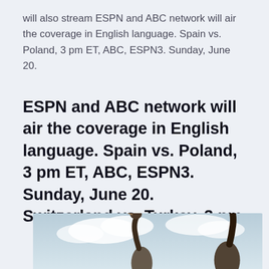will also stream ESPN and ABC network will air the coverage in English language. Spain vs. Poland, 3 pm ET, ABC, ESPN3. Sunday, June 20.
ESPN and ABC network will air the coverage in English language. Spain vs. Poland, 3 pm ET, ABC, ESPN3. Sunday, June 20. Switzerland vs. Turkey, 3 pm
[Figure (photo): Photo of two pelicans against a light blue sky with clouds. The pelicans are partially cropped at the bottom of the page.]